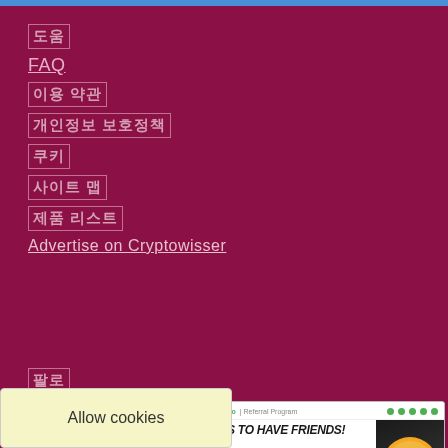도움
FAQ
이용 약관
개인정보 보호정책
쿠키
사이트 맵
제품 리스트
Advertise on Cryptowisser
팔로
[Figure (infographic): Social media icons: email, Facebook, X (Twitter), YouTube]
[Figure (screenshot): Advertisement banner: FMFW.io Referral Program - IT PAYS TO HAVE FRIENDS! Earn 80% of the trading fees. Bitcoin coin graphic on dark background, green dots decoration.]
Allow cookies